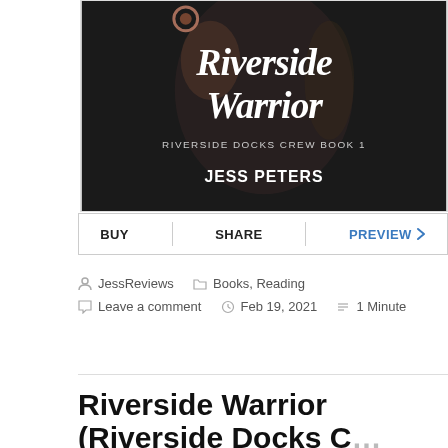[Figure (illustration): Book cover for 'Riverside Warrior' by Jess Peters. Dark/black background with italic white bold text reading 'Riverside Warrior', subtitle 'RIVERSIDE DOCKS CREW BOOK 1', and author name 'JESS PETERS'. Background shows a blurred muscular figure.]
BUY | SHARE | PREVIEW >
JessReviews     Books, Reading
Leave a comment     Feb 19, 2021     1 Minute
Riverside Warrior (Riverside Docks C...